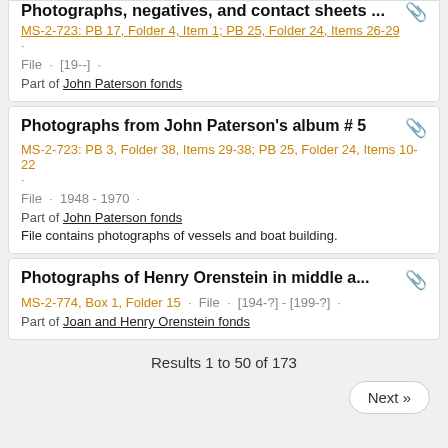Photographs, negatives, and contact sheets ... MS-2-723: PB 17, Folder 4, Item 1; PB 25, Folder 24, Items 26-29 · File · [19--] · Part of John Paterson fonds
Photographs from John Paterson's album # 5 MS-2-723: PB 3, Folder 38, Items 29-38; PB 25, Folder 24, Items 10-22 · File · 1948 - 1970 · Part of John Paterson fonds. File contains photographs of vessels and boat building.
Photographs of Henry Orenstein in middle a... MS-2-774, Box 1, Folder 15 · File · [194-?] - [199-?] · Part of Joan and Henry Orenstein fonds
Results 1 to 50 of 173
Next »